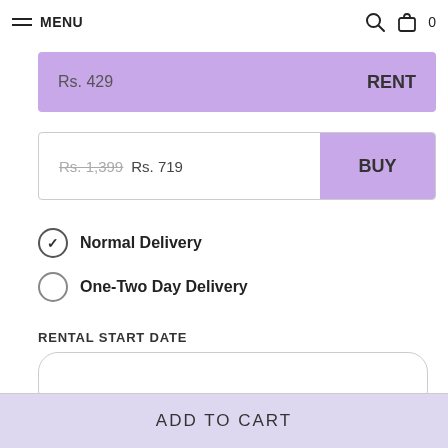MENU
Rs. 429  RENT
Rs. 1,399  Rs. 719  BUY
Normal Delivery
One-Two Day Delivery
RENTAL START DATE
PICK UP DATE
ADD TO CART